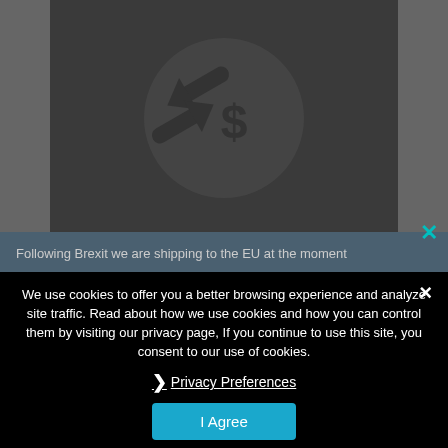[Figure (screenshot): Dark background with a currency exchange / swap icon (arrows with a pound/dollar symbol) on a dark gray panel]
Following Brexit we are shipping to the EU at the moment
We use cookies to offer you a better browsing experience and analyze site traffic. Read about how we use cookies and how you can control them by visiting our privacy page, If you continue to use this site, you consent to our use of cookies.
❯ Privacy Preferences
I Agree